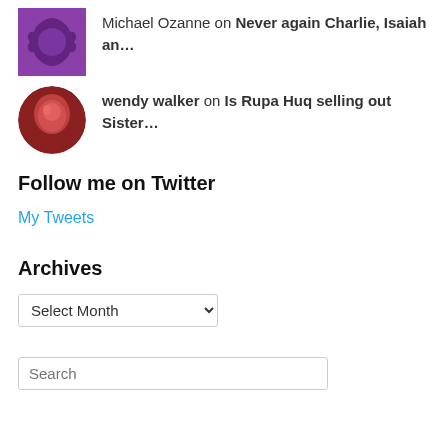Michael Ozanne on Never again Charlie, Isaiah an…
wendy walker on Is Rupa Huq selling out Sister…
Follow me on Twitter
My Tweets
Archives
Select Month
Search